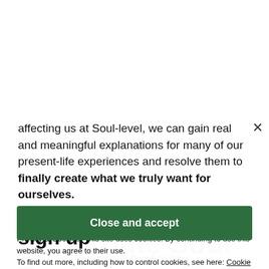affecting us at Soul-level, we can gain real and meaningful explanations for many of our present-life experiences and resolve them to finally create what we truly want for ourselves.
For more info and to sign up
Privacy & Cookies: This site uses cookies. By continuing to use this website, you agree to their use. To find out more, including how to control cookies, see here: Cookie Policy
Close and accept
Lesson 1: Soul Realignment® Core Principles